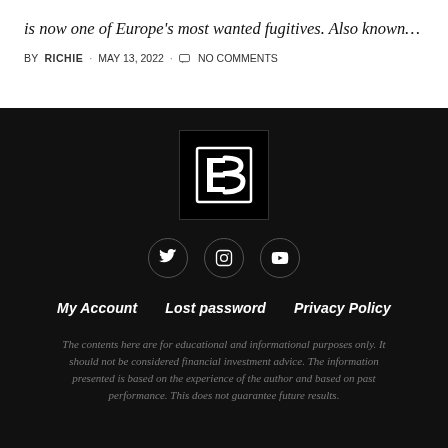is now one of Europe's most wanted fugitives. Also known…
BY RICHIE · MAY 13, 2022 · NO COMMENTS
[Figure (logo): Black square logo with white stylized letter B (BitBoy/BB brand logo)]
[Figure (illustration): Social media icons: Twitter bird, Instagram camera, YouTube play button — white on dark circular outlines]
My Account    Lost password    Privacy Policy
The contents here are for educational and informational purposes only. It should not be considered financial investment advice. The information presented is based on the experience of the author and based on past performance. This does not guarantee future results.